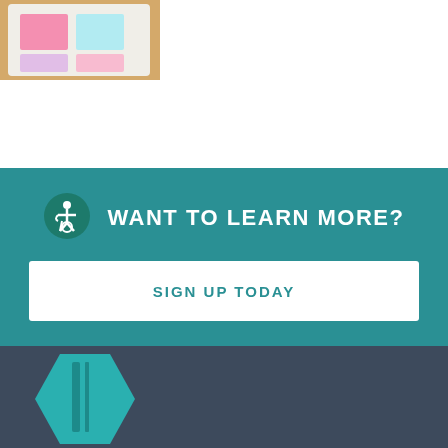[Figure (photo): Photo of a tablet or digital device with colorful sticky notes on a wooden surface, partially visible in top-left corner]
WANT TO LEARN MORE?
SIGN UP TODAY
[Figure (illustration): Teal hexagonal book or folder graphic partially visible in bottom-left corner against dark blue-gray background]